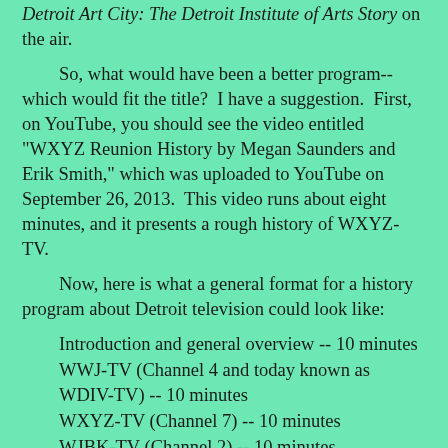Detroit Art City: The Detroit Institute of Arts Story on the air.
So, what would have been a better program--which would fit the title? I have a suggestion. First, on YouTube, you should see the video entitled "WXYZ Reunion History by Megan Saunders and Erik Smith," which was uploaded to YouTube on September 26, 2013. This video runs about eight minutes, and it presents a rough history of WXYZ-TV.
Now, here is what a general format for a history program about Detroit television could look like:
Introduction and general overview -- 10 minutes
WWJ-TV (Channel 4 and today known as WDIV-TV) -- 10 minutes
WXYZ-TV (Channel 7) -- 10 minutes
WJBK-TV (Channel 2) -- 10 minutes
CKLW-TV (Channel 9 (Windsor, Ontario, Canada)) -- 10 minutes
WKBD-TV (Channel 5) -- eight